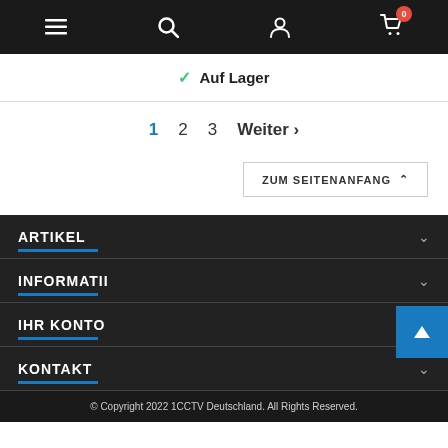[Figure (screenshot): Navigation bar with hamburger menu, search icon, user icon, and shopping cart icon with badge showing 0]
✓ Auf Lager
1  2  3  Weiter >
ZUM SEITENANFANG ^
ARTIKEL
INFORMATII
IHR KONTO
KONTAKT
© Copyright 2022 1CCTV Deutschland. All Rights Reserved.